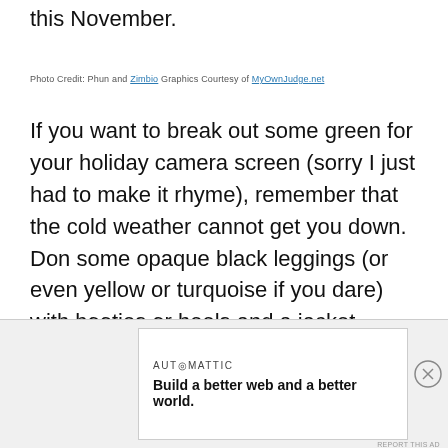this November.
Photo Credit: Phun and Zimbio Graphics Courtesy of MyOwnJudge.net
If you want to break out some green for your holiday camera screen (sorry I just had to make it rhyme), remember that the cold weather cannot get you down. Don some opaque black leggings (or even yellow or turquoise if you dare) with booties or heels and a jacket. When you relinquish your outerwear, the crowd will surely ooh and ahh as if you are the holly straight off the tree. Don’t have any of the sort? Check out the below selection to get
Advertisements
AUTOMATTIC
Build a better web and a better world.